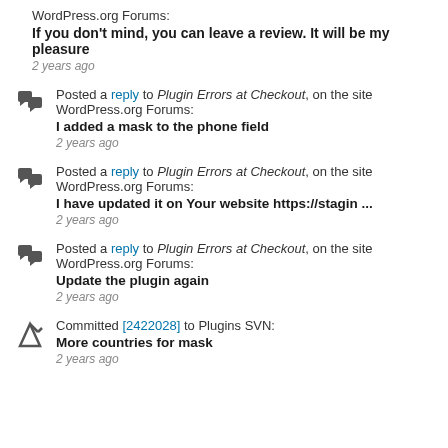WordPress.org Forums:
If you don't mind, you can leave a review. It will be my pleasure
2 years ago
Posted a reply to Plugin Errors at Checkout, on the site WordPress.org Forums:
I added a mask to the phone field
2 years ago
Posted a reply to Plugin Errors at Checkout, on the site WordPress.org Forums:
I have updated it on Your website https://stagin ...
2 years ago
Posted a reply to Plugin Errors at Checkout, on the site WordPress.org Forums:
Update the plugin again
2 years ago
Committed [2422028] to Plugins SVN:
More countries for mask
2 years ago